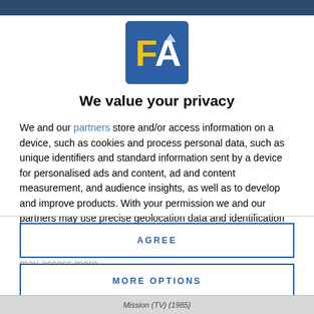[Figure (logo): FA logo — blue square background with yellow letter F and white letter A with mountain/hat icon]
We value your privacy
We and our partners store and/or access information on a device, such as cookies and process personal data, such as unique identifiers and standard information sent by a device for personalised ads and content, ad and content measurement, and audience insights, as well as to develop and improve products. With your permission we and our partners may use precise geolocation data and identification through device scanning. You may click to consent to our and our partners' processing as described above. Alternatively you may access more
AGREE
MORE OPTIONS
Mission (TV) (1985)